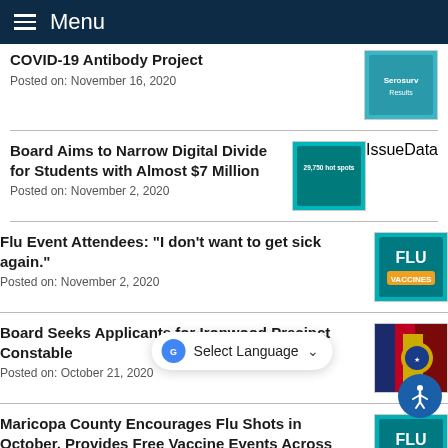Menu
COVID-19 Antibody Project
Posted on: November 16, 2020
Board Aims to Narrow Digital Divide for Students with Almost $7 Million
Posted on: November 2, 2020
Flu Event Attendees: "I don't want to get sick again."
Posted on: November 2, 2020
Board Seeks Applicants for Ironwood Precinct Constable
Posted on: October 21, 2020
Maricopa County Encourages Flu Shots in October, Provides Free Vaccine Events Across Region
Posted on: October 13, 2020